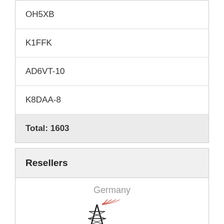| OH5XB |
| K1FFK |
| AD6VT-10 |
| K8DAA-8 |
| Total: 1603 |
Resellers
Germany
[Figure (logo): FunkTechnik Dathe logo with radio tower and signal waves]
Switzerland